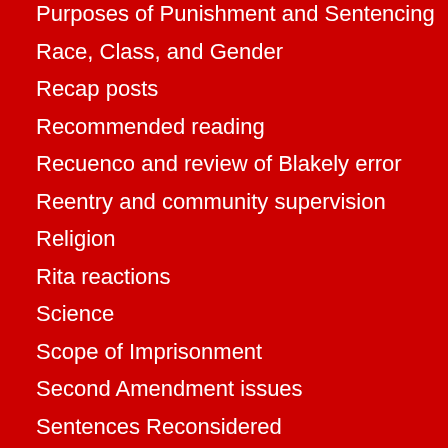Purposes of Punishment and Sentencing
Race, Class, and Gender
Recap posts
Recommended reading
Recuenco and review of Blakely error
Reentry and community supervision
Religion
Rita reactions
Science
Scope of Imprisonment
Second Amendment issues
Sentences Reconsidered
Sentencing around the world
Severability of FSG
Sex Offender Sentencing
Judicial Diversity and Defender Adjudication: A National Survey
March 3, 2022 at 10:48 AM
Permalink
Co
The paper error puts Ohio in the cate